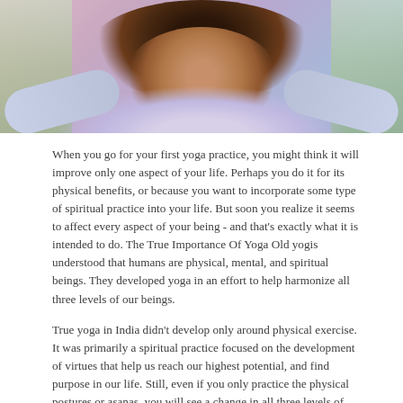[Figure (photo): Close-up photo of a young woman with curly dark hair, wearing a light-colored sleeveless top, photographed from above against a pinkish-purple background with some greenery visible.]
When you go for your first yoga practice, you might think it will improve only one aspect of your life. Perhaps you do it for its physical benefits, or because you want to incorporate some type of spiritual practice into your life. But soon you realize it seems to affect every aspect of your being - and that's exactly what it is intended to do. The True Importance Of Yoga Old yogis understood that humans are physical, mental, and spiritual beings. They developed yoga in an effort to help harmonize all three levels of our beings.
True yoga in India didn't develop only around physical exercise. It was primarily a spiritual practice focused on the development of virtues that help us reach our highest potential, and find purpose in our life. Still, even if you only practice the physical postures or asanas, you will see a change in all three levels of your being. That's not only a promise coming from subjective experiences of practitioners, it is also something that we can and have proven by science today.
Physical yoga practice is a form of education about living a better life. On the mat, we become aware of our body and our movement. We connect to our breath and learn to control it. The breath serves as a sort of bridge between our physical body, our mind, and our spiritual self. You can experience that as soon as you